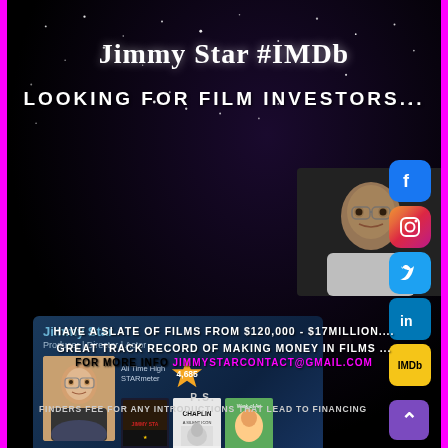Jimmy Star #IMDb
LOOKING FOR FILM INVESTORS...
[Figure (infographic): IMDb Pro profile card for Jimmy Star, Producer | Director | Actor, showing All Time High STARmeter 4,685, with film thumbnails: The Jimmy Star Show, Chaplin: A Silent Icon, Work of Art]
[Figure (photo): Video frame showing a man in a white shirt, dimly lit, appears to be from a video recording]
[Figure (infographic): Social media icons: Facebook (blue), Instagram (pink/red), Twitter (blue bird), LinkedIn (blue), IMDb (yellow)]
HAVE A SLATE OF FILMS FROM $120,000 - $17MILLION....
GREAT TRACK RECORD OF MAKING MONEY IN FILMS ...
FOR MORE INFO JIMMYSTARCONTACT@GMAIL.COM
P.S.
FINDERS FEE FOR ANY INTRODUCTIONS THAT LEAD TO FINANCING